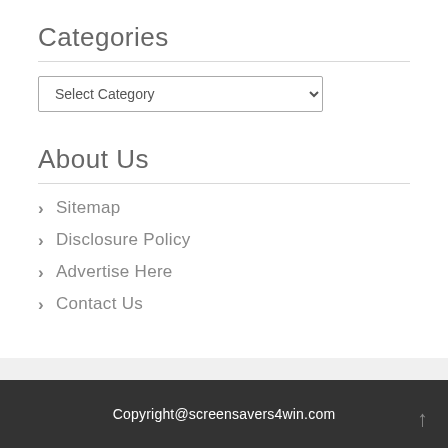Categories
[Figure (screenshot): A dropdown select box labeled 'Select Category' with a chevron arrow on the right]
About Us
Sitemap
Disclosure Policy
Advertise Here
Contact Us
Copyright@screensavers4win.com